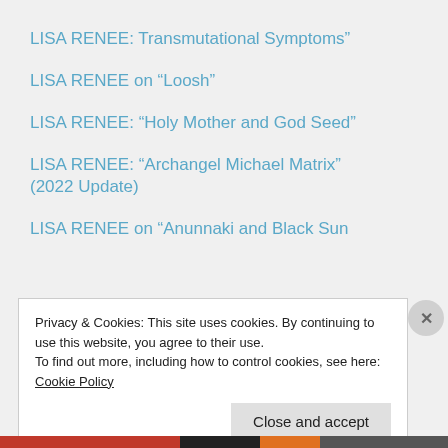LISA RENEE: Transmutational Symptoms”
LISA RENEE on “Loosh”
LISA RENEE: “Holy Mother and God Seed”
LISA RENEE: “Archangel Michael Matrix” (2022 Update)
LISA RENEE on “Anunnaki and Black Sun
Privacy & Cookies: This site uses cookies. By continuing to use this website, you agree to their use.
To find out more, including how to control cookies, see here: Cookie Policy
Close and accept